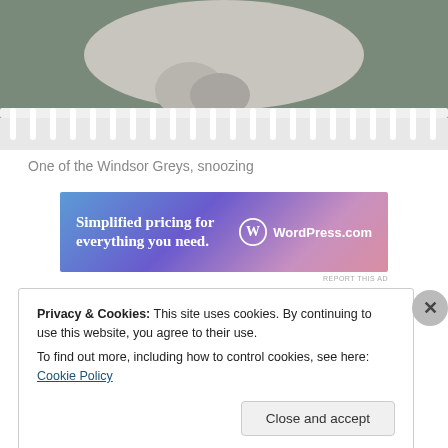[Figure (photo): A grey horse viewed through white balustraded railings, appearing to be snoozing with head down]
One of the Windsor Greys, snoozing
[Figure (infographic): WordPress.com advertisement banner: 'Simplified pricing for everything you need.']
Privacy & Cookies: This site uses cookies. By continuing to use this website, you agree to their use.
To find out more, including how to control cookies, see here: Cookie Policy
Close and accept